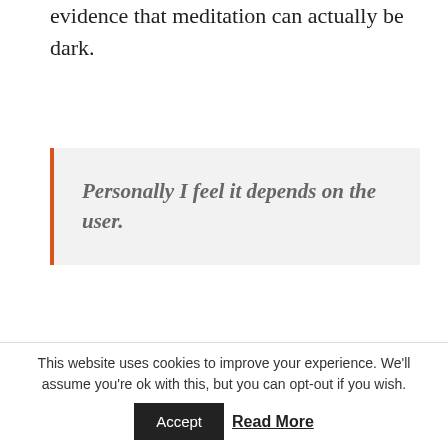evidence that meditation can actually be dark.
Personally I feel it depends on the user.
If you are already of sound mind and body, meditation may help you relax even more and give you the ability to see behind the
This website uses cookies to improve your experience. We'll assume you're ok with this, but you can opt-out if you wish.